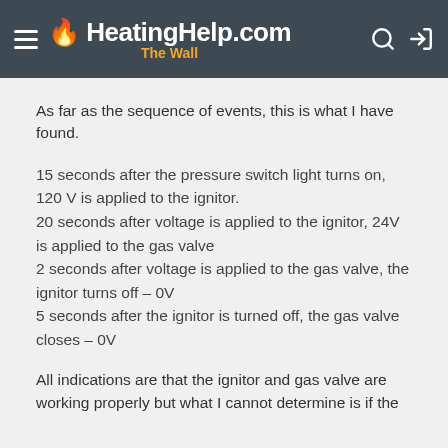HeatingHelp.com The Wall
As far as the sequence of events, this is what I have found.
15 seconds after the pressure switch light turns on, 120 V is applied to the ignitor.
20 seconds after voltage is applied to the ignitor, 24V is applied to the gas valve
2 seconds after voltage is applied to the gas valve, the ignitor turns off – 0V
5 seconds after the ignitor is turned off, the gas valve closes – 0V
All indications are that the ignitor and gas valve are working properly but what I cannot determine is if the